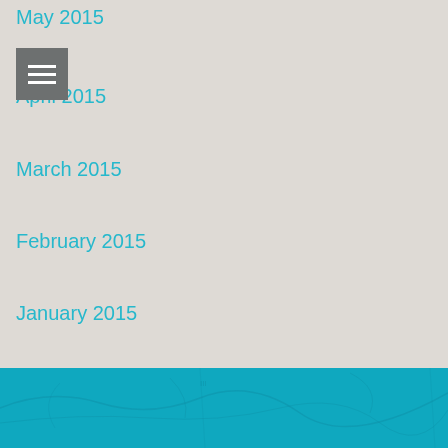May 2015
April 2015
March 2015
February 2015
January 2015
December 2014
November 2014
October 2014
September 2014
August 2014
[Figure (map): Teal/cyan coloured decorative map at the bottom of the page]